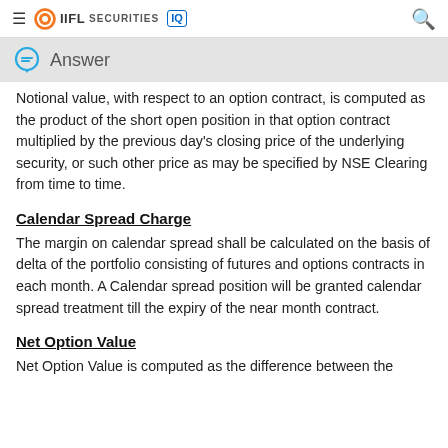IIFL Securities IQ
Notional value, with respect to an option contract, is computed as the product of the short open position in that option contract multiplied by the previous day's closing price of the underlying security, or such other price as may be specified by NSE Clearing from time to time.
Calendar Spread Charge
The margin on calendar spread shall be calculated on the basis of delta of the portfolio consisting of futures and options contracts in each month. A Calendar spread position will be granted calendar spread treatment till the expiry of the near month contract.
Net Option Value
Net Option Value is computed as the difference between the